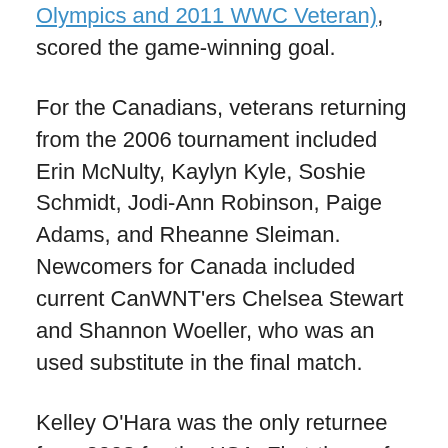Olympics and 2011 WWC Veteran), scored the game-winning goal.
For the Canadians, veterans returning from the 2006 tournament included Erin McNulty, Kaylyn Kyle, Soshie Schmidt, Jodi-Ann Robinson, Paige Adams, and Rheanne Sleiman. Newcomers for Canada included current CanWNT'ers Chelsea Stewart and Shannon Woeller, who was an used substitute in the final match.
Kelley O'Hara was the only returnee from 2008 for the USA. First-timers for the Americans included Canadian-born and current USWNT'er Sydney Leroux. Other USWNT players include Meghan Klingenberg (2 caps, 2011), Christine Nairn (2 caps, 2009), and Casey Noguiera (5 caps, 2007-2010). Recent USWNT camp attendee Keelin Winters also played in that match. Another recent camp attendee, Ingrid Wells, was an unused